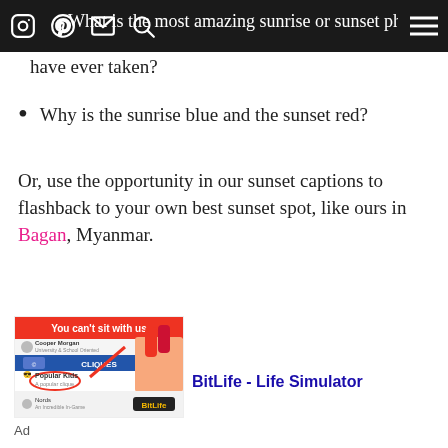[Navigation bar with social icons and hamburger menu]
What is the most amazing sunrise or sunset photo you have ever taken?
Why is the sunrise blue and the sunset red?
Or, use the opportunity in our sunset captions to flashback to your own best sunset spot, like ours in Bagan, Myanmar.
[Figure (screenshot): Advertisement for BitLife - Life Simulator app showing 'You can't sit with us' cliques interface with Cooper Morgan profile and Popular Kids group highlighted. BitLife logo visible at bottom.]
Ad